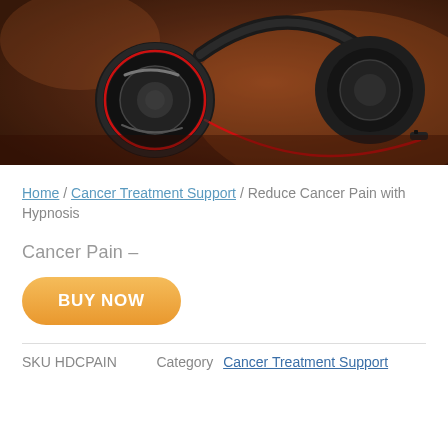[Figure (photo): Close-up photo of black and red over-ear headphones resting on a wooden surface with warm reddish-brown ambient lighting.]
Home / Cancer Treatment Support / Reduce Cancer Pain with Hypnosis
Cancer Pain –
BUY NOW
SKU HDCPAIN    Category Cancer Treatment Support